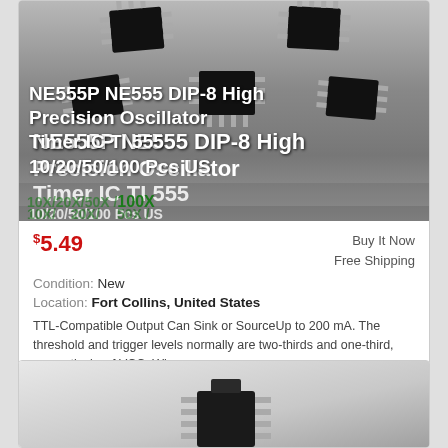[Figure (photo): Product listing image showing multiple NE555P DIP-8 IC timer chips with white text overlay title and green quantity selector bar]
$5.49
Buy It Now
Free Shipping
Condition: New
Location: Fort Collins, United States
TTL-Compatible Output Can Sink or SourceUp to 200 mA. The threshold and trigger levels normally are two-thirds and one-third, respectively, of VCC. When ... more
[Figure (photo): Partial product image showing bottom of an IC component on grey gradient background]